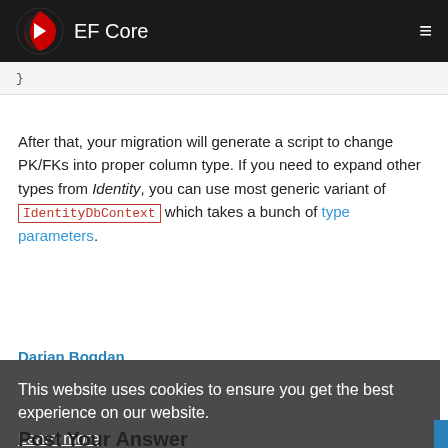EF Core
}
After that, your migration will generate a script to change PK/FKs into proper column type. If you need to expand other types from Identity, you can use most generic variant of IdentityDbContext which takes a bunch of type parameters.
Darjan Bogdan
This website uses cookies to ensure you get the best experience on our website.
Learn more
Post Your Answer
Make sure you configure the
Got it!
AppDbContext